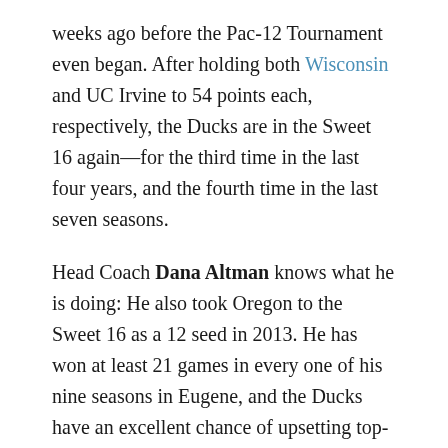weeks ago before the Pac-12 Tournament even began. After holding both Wisconsin and UC Irvine to 54 points each, respectively, the Ducks are in the Sweet 16 again—for the third time in the last four years, and the fourth time in the last seven seasons.
Head Coach Dana Altman knows what he is doing: He also took Oregon to the Sweet 16 as a 12 seed in 2013. He has won at least 21 games in every one of his nine seasons in Eugene, and the Ducks have an excellent chance of upsetting top-seeded Virginia in the regional semifinals on Thursday night. With ten straight victories, Oregon's confidence is soaring.
What to Watch For Next